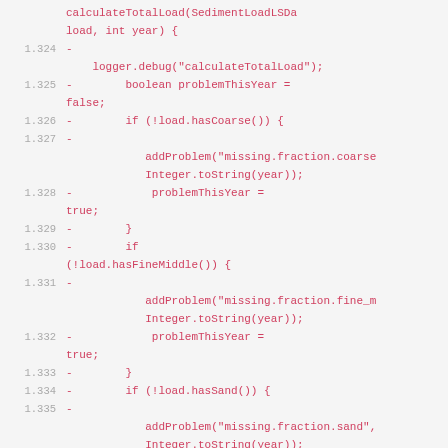[Figure (screenshot): Code diff showing Java method lines 1.324-1.338, displaying removed lines (marked with -) in red/pink on a light gray background. The code is from a calculateTotalLoad method checking for sediment load fractions (coarse, fine middle, sand, susp sand).]